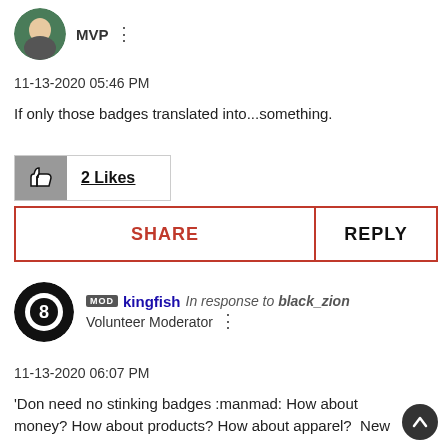[Figure (photo): User avatar - circular profile photo showing a person with green background, MVP label beside it]
MVP
11-13-2020 05:46 PM
If only those badges translated into...something.
2 Likes
SHARE
REPLY
[Figure (photo): 8-ball avatar for user kingfish]
MOD kingfish In response to black_zion
Volunteer Moderator
11-13-2020 06:07 PM
'Don need no stinking badges :manmad: How about money? How about products? How about apparel?  New